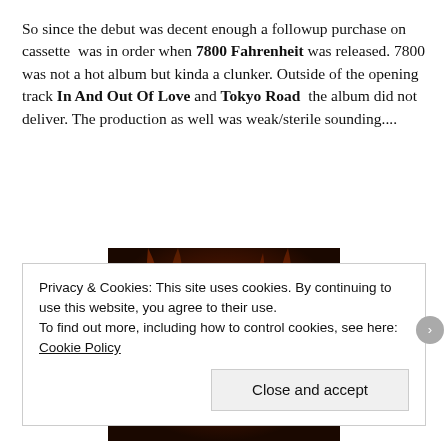So since the debut was decent enough a followup purchase on cassette was in order when 7800 Fahrenheit was released. 7800 was not a hot album but kinda a clunker. Outside of the opening track In And Out Of Love and Tokyo Road the album did not deliver. The production as well was weak/sterile sounding....
[Figure (photo): Bon Jovi 7800 Fahrenheit album cover showing band name BON·JOVI on a dark fiery background]
Privacy & Cookies: This site uses cookies. By continuing to use this website, you agree to their use. To find out more, including how to control cookies, see here: Cookie Policy
Close and accept